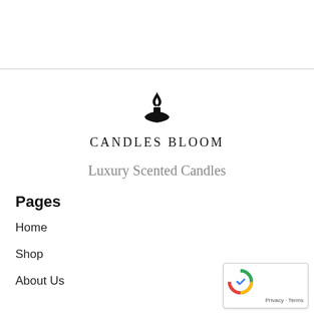[Figure (logo): Candles Bloom logo: a stylized candle flame above a crescent/bowl shape, with the text CANDLES BLOOM in spaced serif capitals below]
Luxury Scented Candles
Pages
Home
Shop
About Us